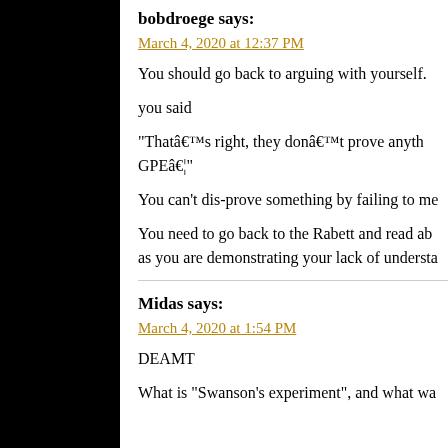bobdroege says:
March 4, 2020 at 12:37 PM
You should go back to arguing with yourself.
you said
“Thatâ€™s right, they donâ€™t prove anyth… GPEâ€¦”
You can’t dis-prove something by failing to me…
You need to go back to the Rabett and read ab… as you are demonstrating your lack of understa…
Midas says:
March 4, 2020 at 1:54 PM
DEAMT
What is “Swanson’s experiment”, and what wa…